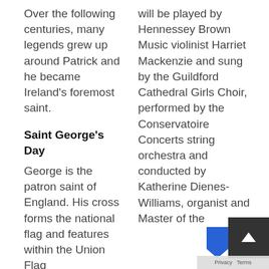Over the following centuries, many legends grew up around Patrick and he became Ireland's foremost saint.
Saint George's Day
George is the patron saint of England. His cross forms the national flag and features within the Union Flag
will be played by Hennessey Brown Music violinist Harriet Mackenzie and sung by the Guildford Cathedral Girls Choir, performed by the Conservatoire Concerts string orchestra and conducted by Katherine Dienes-Williams, organist and Master of the